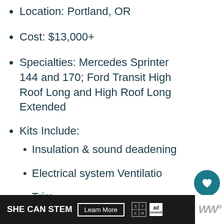Location: Portland, OR
Cost: $13,000+
Specialties: Mercedes Sprinter 144 and 170; Ford Transit High Roof Long and High Roof Long Extended
Kits Include:
Insulation & sound deadening
Electrical system Ventilation
Trim